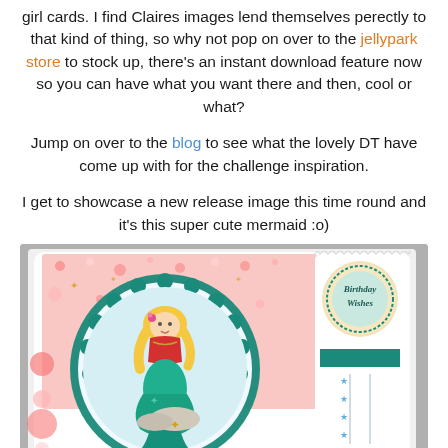girl cards. I find Claires images lend themselves perectly to that kind of thing, so why not pop on over to the jellypark store to stock up, there's an instant download feature now so you can have what you want there and then, cool or what?
Jump on over to the blog to see what the lovely DT have come up with for the challenge inspiration.
I get to showcase a new release image this time round and it's this super cute mermaid :o)
[Figure (photo): A handmade birthday card featuring a cute mermaid girl with blonde hair, sitting on a shell. The card has a teal scalloped circle frame, pink patterned paper background, a 'Birthday Wishes' circular label in gold/teal, and star-shaped embellishments. Watermark reads inkrdoodlecrafts.blogspot.com.]